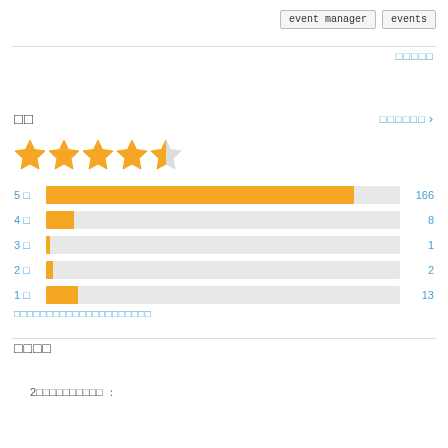event manager   events
□□□□□
□□
□□□□□□ >
[Figure (other): 4.5 star rating display with 4 filled golden stars and 1 half star]
[Figure (bar-chart): Rating distribution]
□□□□□□□□□□□□□□□□□□□□□
□□□□
2□□□□□□□□□□ :